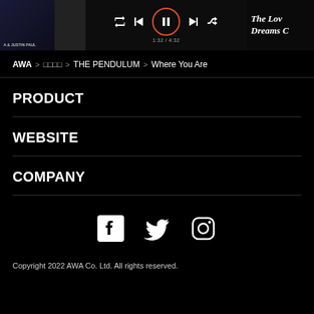[Figure (screenshot): Top banner showing music player interface with album art on left, a dark album cover image, player controls in center (repeat, prev, pause, next, shuffle icons with time 1:32/4:32), and 'THE LOVE DREAMS C' text on right side album art]
AWA > □□□□ > THE PENDULUM > Where You Are
PRODUCT
WEBSITE
COMPANY
[Figure (illustration): Social media icons row: Facebook, Twitter, Instagram]
Copyright 2022 AWA Co. Ltd. All rights reserved.